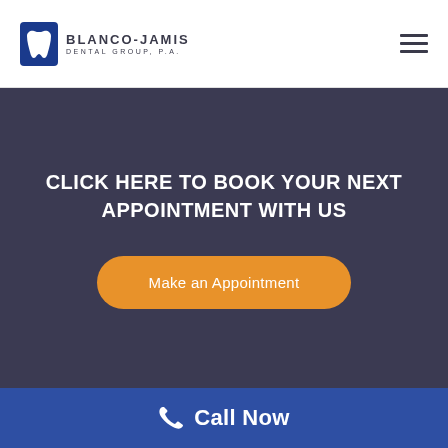BLANCO-JAMIS DENTAL GROUP, P.A.
CLICK HERE TO BOOK YOUR NEXT APPOINTMENT WITH US
[Figure (other): Orange rounded button with text 'Make an Appointment']
[Figure (other): Blue footer bar with phone icon and 'Call Now' text]